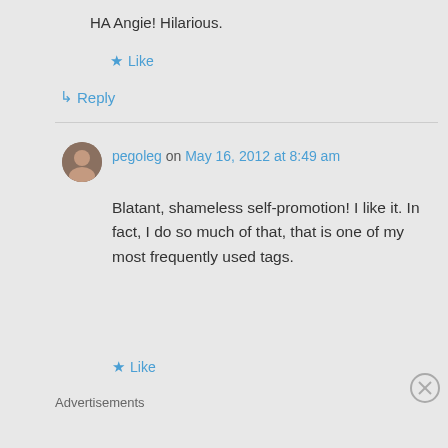HA Angie! Hilarious.
Like
Reply
pegoleg on May 16, 2012 at 8:49 am
Blatant, shameless self-promotion! I like it. In fact, I do so much of that, that is one of my most frequently used tags.
Like
Advertisements